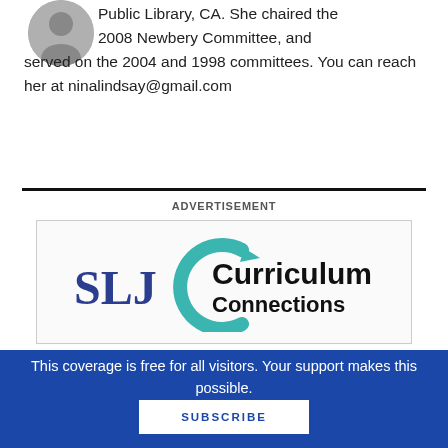[Figure (photo): Circular avatar/headshot photo of a person, partially visible at top left]
Public Library, CA. She chaired the 2008 Newbery Committee, and served on the 2004 and 1998 committees. You can reach her at ninalindsay@gmail.com
ADVERTISEMENT
[Figure (logo): SLJ Curriculum Connections logo with teal arc/C shape and bold text]
This coverage is free for all visitors. Your support makes this possible.
SUBSCRIBE